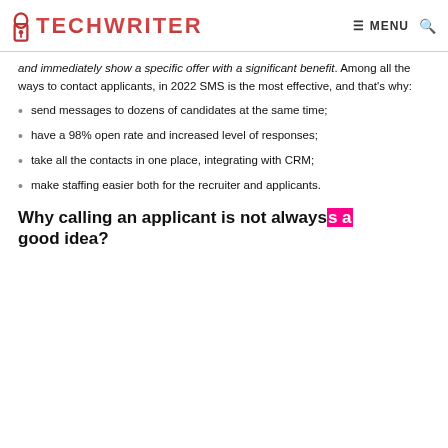TECHWRITER | MENU
and immediately show a specific offer with a significant benefit. Among all the ways to contact applicants, in 2022 SMS is the most effective, and that's why:
send messages to dozens of candidates at the same time;
have a 98% open rate and increased level of responses;
take all the contacts in one place, integrating with CRM;
make staffing easier both for the recruiter and applicants.
Why calling an applicant is not always a good idea?